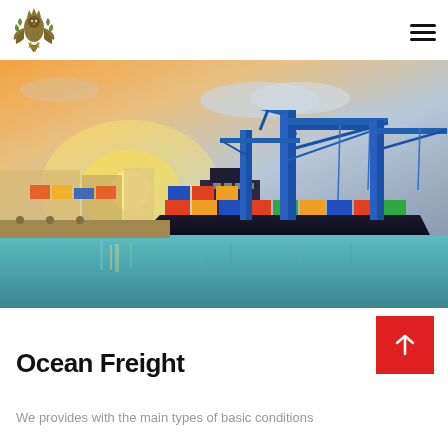Logo and navigation header with hamburger menu
[Figure (photo): Container ship at port during sunset with large blue cranes, colorful shipping containers, and reflective blue-green water in the foreground]
Ocean Freight
We provides with the main types of basic conditions